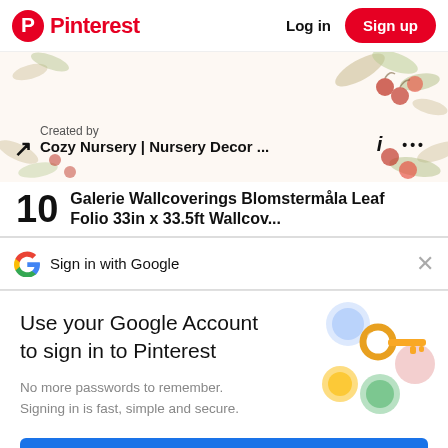Pinterest  Log in  Sign up
[Figure (screenshot): Decorative floral banner with cherries and leaves watercolor illustration. Shows 'Created by' label and board name 'Cozy Nursery | Nursery Decor ...' with an info icon and ellipsis menu icon.]
10  Galerie Wallcoverings Blomstermåla Leaf Folio 33in x 33.5ft Wallcov...
Sign in with Google
Use your Google Account to sign in to Pinterest
No more passwords to remember. Signing in is fast, simple and secure.
[Figure (illustration): Google key illustration showing a golden key with colorful circular shapes (blue, yellow/gold, teal, pink) on a white/light grey background]
Continue